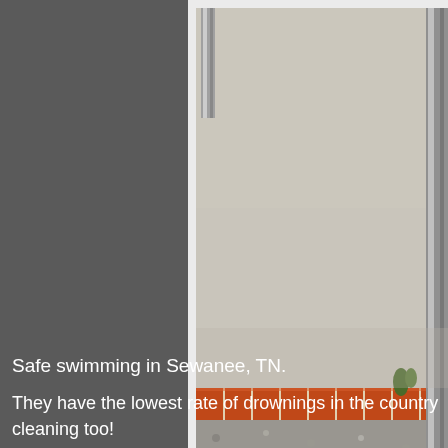[Figure (photo): Partial view of a pool or outdoor area showing concrete pavement, a row of red brick edging, gravel ground cover, metal poles/rails, and a small plant. The photo is mounted on a white/light gray background card with a caption 'No Diving Head...' partially visible at the bottom right.]
Safe swimming in Sewanee, TN.
They have the lowest rate of drownings in the country... cleaning too!